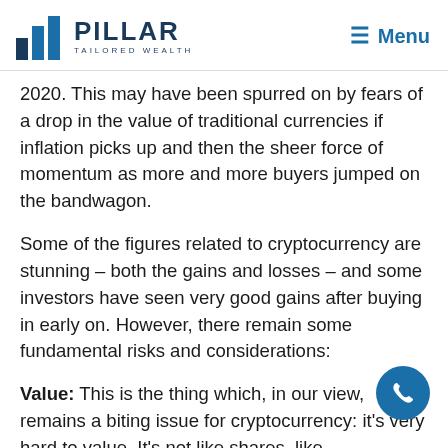PILLAR TAILORED WEALTH — Menu
2020. This may have been spurred on by fears of a drop in the value of traditional currencies if inflation picks up and then the sheer force of momentum as more and more buyers jumped on the bandwagon.
Some of the figures related to cryptocurrency are stunning – both the gains and losses – and some investors have seen very good gains after buying in early on. However, there remain some fundamental risks and considerations:
Value: This is the thing which, in our view, remains a biting issue for cryptocurrency: it's very hard to value. It's not like shares, like…